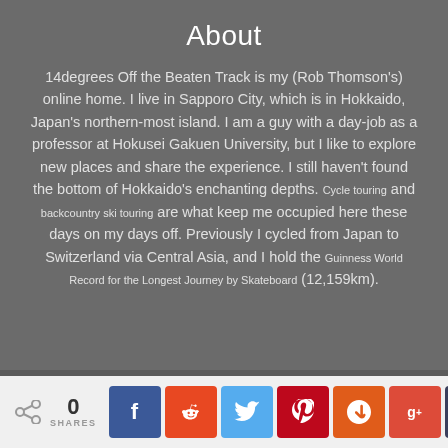About
14degrees Off the Beaten Track is my (Rob Thomson's) online home. I live in Sapporo City, which is in Hokkaido, Japan's northern-most island. I am a guy with a day-job as a professor at Hokusei Gakuen University, but I like to explore new places and share the experience. I still haven't found the bottom of Hokkaido's enchanting depths. Cycle touring and backcountry ski touring are what keep me occupied here these days on my days off. Previously I cycled from Japan to Switzerland via Central Asia, and I hold the Guinness World Record for the Longest Journey by Skateboard (12,159km).
Subscribe for email updates
Enter your email address: